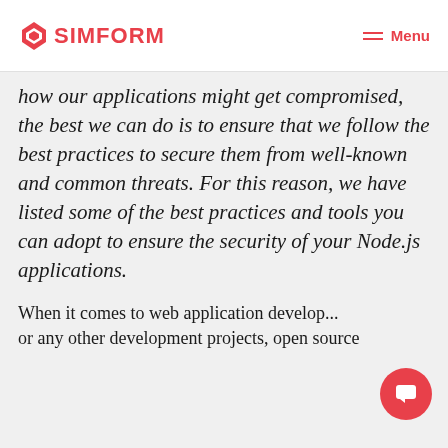SIMFORM  Menu
how our applications might get compromised, the best we can do is to ensure that we follow the best practices to secure them from well-known and common threats. For this reason, we have listed some of the best practices and tools you can adopt to ensure the security of your Node.js applications.
When it comes to web application develop... or any other development projects, open source